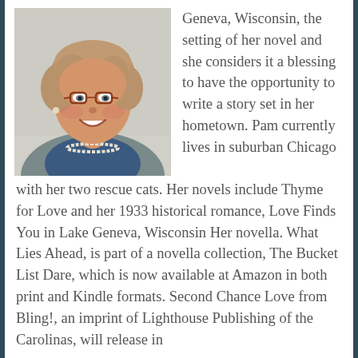[Figure (photo): Portrait photo of a smiling middle-aged woman with curly light brown hair, wearing red-rimmed glasses, a pearl necklace, a blue top, and a gray jacket. Light background.]
Geneva, Wisconsin, the setting of her novel and she considers it a blessing to have the opportunity to write a story set in her hometown. Pam currently lives in suburban Chicago with her two rescue cats. Her novels include Thyme for Love and her 1933 historical romance, Love Finds You in Lake Geneva, Wisconsin Her novella. What Lies Ahead, is part of a novella collection, The Bucket List Dare, which is now available at Amazon in both print and Kindle formats. Second Chance Love from Bling!, an imprint of Lighthouse Publishing of the Carolinas, will release in